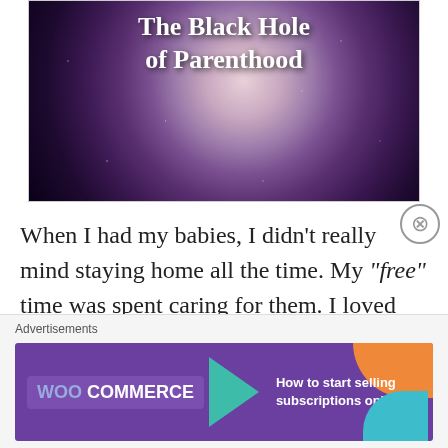[Figure (illustration): Book cover for 'The Black Hole of Parenthood' showing a cosmic/space background with swirling galaxy and dark center, white bold serif title text overlay]
When I had my babies, I didn't really mind staying home all the time. My “free” time was spent caring for them. I loved watching them day in and day out, but as they grew to be toddlers and the newness of having an infant had worn off, I found
Advertisements
WOO COMMERCE — How to start selling subscriptions online